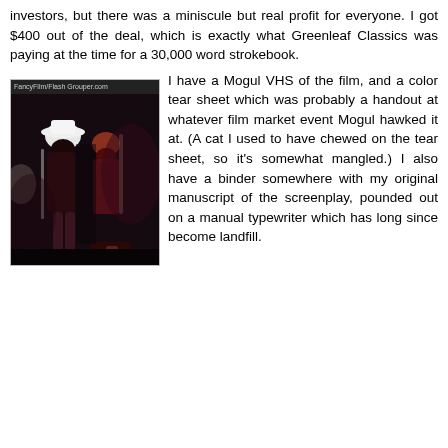investors, but there was a miniscule but real profit for everyone. I got $400 out of the deal, which is exactly what Greenleaf Classics was paying at the time for a 30,000 word strokebook.
[Figure (photo): Dark concert or stage photo showing two figures, one wearing a white hat, against a dark background with high contrast lighting]
I have a Mogul VHS of the film, and a color tear sheet which was probably a handout at whatever film market event Mogul hawked it at. (A cat I used to have chewed on the tear sheet, so it's somewhat mangled.) I also have a binder somewhere with my original manuscript of the screenplay, pounded out on a manual typewriter which has long since become landfill.